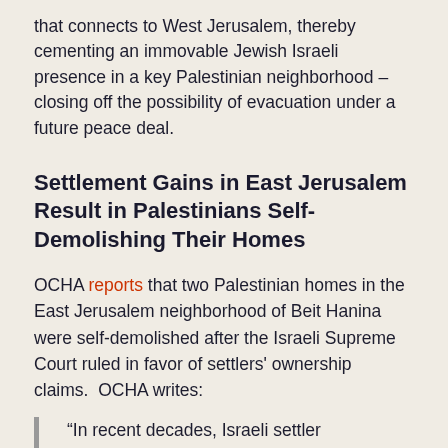that connects to West Jerusalem, thereby cementing an immovable Jewish Israeli presence in a key Palestinian neighborhood – closing off the possibility of evacuation under a future peace deal.
Settlement Gains in East Jerusalem Result in Palestinians Self-Demolishing Their Homes
OCHA reports that two Palestinian homes in the East Jerusalem neighborhood of Beit Hanina were self-demolished after the Israeli Supreme Court ruled in favor of settlers' ownership claims.  OCHA writes:
“In recent decades, Israeli settler organizations, with the support of the Israeli authorities, have taken control of properties within Palestinian